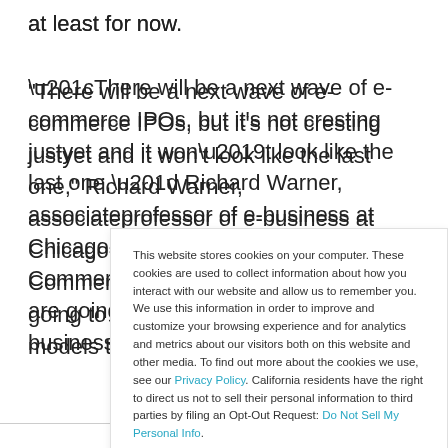at least for now. “There will be a next wave of e-commerce IPOs, but it’s not cresting justyet and it won’t look like the last one,” Richard Warner, associateprofessor of e-business at Chicago-Kent School of Law, told the E-CommerceTimes. “Companies are going to have to prove their business models to somevery
This website stores cookies on your computer. These cookies are used to collect information about how you interact with our website and allow us to remember you. We use this information in order to improve and customize your browsing experience and for analytics and metrics about our visitors both on this website and other media. To find out more about the cookies we use, see our Privacy Policy. California residents have the right to direct us not to sell their personal information to third parties by filing an Opt-Out Request: Do Not Sell My Personal Info.